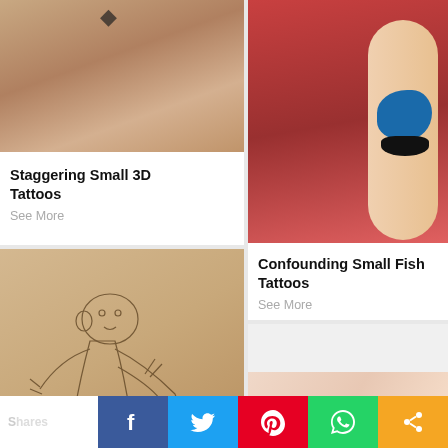[Figure (photo): Close-up photo of a chest/torso with a small geometric diamond tattoo at the top]
Staggering Small 3D Tattoos
See More
[Figure (photo): Photo of an arm with a detailed blue betta fish tattoo, against a red background]
Confounding Small Fish Tattoos
See More
[Figure (photo): Photo of an arm with a sketch-style monkey tattoo drawn in fine lines]
[Figure (photo): Photo of pale skin, partial view]
Shares   f   🐦   P   WhatsApp   Share